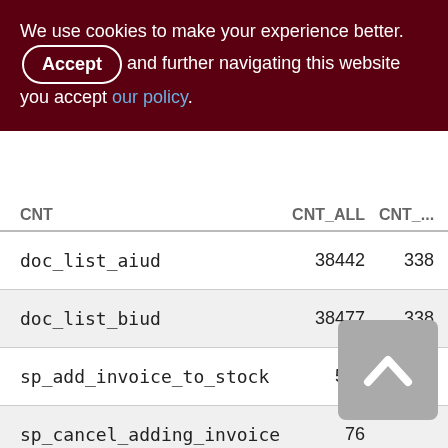We use cookies to make your experience better. By accepting and further navigating this website you accept our policy.
| CNT | CNT_ALL | CNT_... |
| --- | --- | --- |
| doc_list_aiud | 38442 | 338 |
| doc_list_biud | 38477 | 338 |
| sp_add_invoice_to_stock | 594 | 2 |
| sp_cancel_adding_invoice | 76 |  |
| sp_cancel_client_order | 204 | 1 |